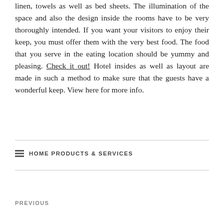linen, towels as well as bed sheets. The illumination of the space and also the design inside the rooms have to be very thoroughly intended. If you want your visitors to enjoy their keep, you must offer them with the very best food. The food that you serve in the eating location should be yummy and pleasing. Check it out! Hotel insides as well as layout are made in such a method to make sure that the guests have a wonderful keep. View here for more info.
HOME PRODUCTS & SERVICES
PREVIOUS